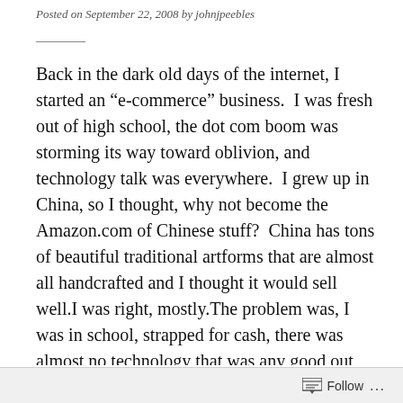Posted on September 22, 2008 by johnjpeebles
Back in the dark old days of the internet, I started an “e-commerce” business. I was fresh out of high school, the dot com boom was storming its way toward oblivion, and technology talk was everywhere. I grew up in China, so I thought, why not become the Amazon.com of Chinese stuff? China has tons of beautiful traditional artforms that are almost all handcrafted and I thought it would sell well.I was right, mostly.The problem was, I was in school, strapped for cash, there was almost no technology that was any good out there, and
Follow